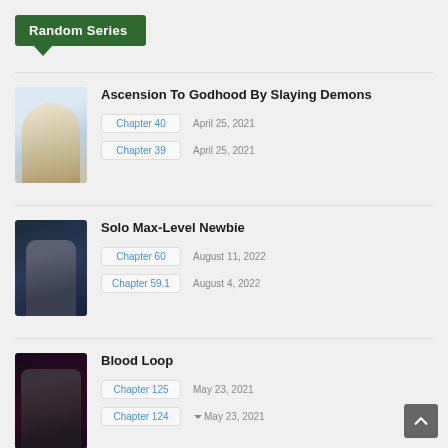Random Series
Ascension To Godhood By Slaying Demons | Chapter 40 | April 25, 2021 | Chapter 39 | April 25, 2021
Solo Max-Level Newbie | Chapter 60 | August 11, 2022 | Chapter 59.1 | August 4, 2022
Blood Loop | Chapter 125 | May 23, 2021 | Chapter 124 | May 23, 2021